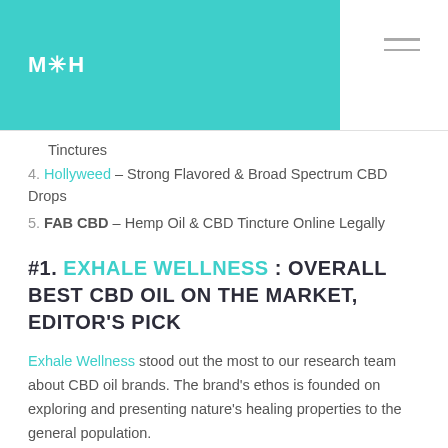M*H
Tinctures
4. Hollyweed – Strong Flavored & Broad Spectrum CBD Drops
5. FAB CBD – Hemp Oil & CBD Tincture Online Legally
#1. EXHALE WELLNESS : OVERALL BEST CBD OIL ON THE MARKET, EDITOR'S PICK
Exhale Wellness stood out the most to our research team about CBD oil brands. The brand's ethos is founded on exploring and presenting nature's healing properties to the general population.